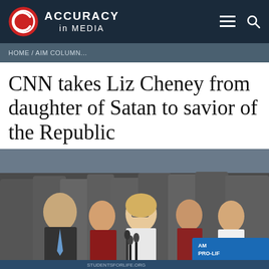ACCURACY in MEDIA
HOME / AIM COLUMN...
CNN takes Liz Cheney from daughter of Satan to savior of the Republic
[Figure (photo): Group of politicians standing outdoors, with a woman with blonde hair and glasses (Liz Cheney) speaking at a podium with microphones. A sign reading 'AM PRO-LIFE GENERATION' and 'STUDENTSFORLIFE.ORG' is visible in the lower right corner.]